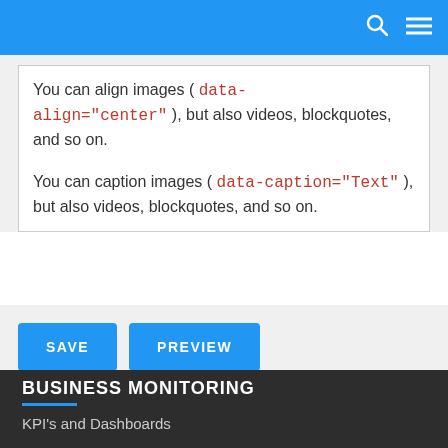About text formats
You can align images ( data-align="center" ), but also videos, blockquotes, and so on.
You can caption images ( data-caption="Text" ), but also videos, blockquotes, and so on.
[Figure (screenshot): Two blue buttons labeled SAVE and PREVIEW]
BUSINESS MONITORING
KPI's and Dashboards